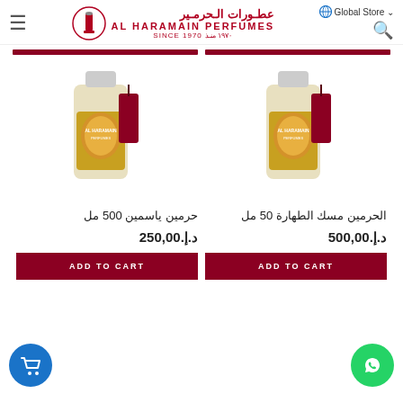Al Haramain Perfumes عطورات الحرمين SINCE 1970 ١٩٧٠ منذ | Global Store | Search
[Figure (photo): Two Al Haramain perfume bottles with red pouch bags]
حرمين ياسمين 500 مل
الحرمين مسك الطهارة 50 مل
د.إ.250,00
د.إ.500,00
ADD TO CART
ADD TO CART